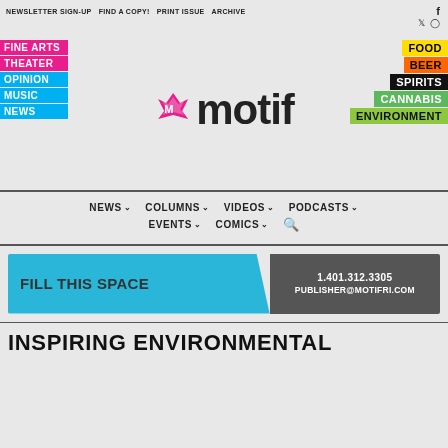NEWSLETTER SIGN-UP   FIND A COPY!   PRINT ISSUE   ARCHIVE
[Figure (logo): Motif magazine logo with pink crown icon and dark 'motif' wordmark]
FINE ARTS
THEATER
OPINION
MUSIC
NEWS
FOOD
BEER
SPIRITS
CANNABIS
ENVIRONMENT
NEWS  COLUMNS  VIDEOS  PODCASTS  EVENTS  COMICS
[Figure (infographic): Fill This Space advertisement banner with phone number 1.401.312.3305 and email publisher@motifri.com]
INSPIRING ENVIRONMENTAL